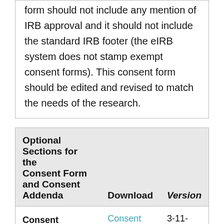form should not include any mention of IRB approval and it should not include the standard IRB footer (the eIRB system does not stamp exempt consent forms). This consent form should be edited and revised to match the needs of the research.
| Optional Sections for the Consent Form and Consent Addenda | Download | Version |
| --- | --- | --- |
| Consent Addendum
This is a consent addendum to allow already enrolled participants to agree to | Consent Addendum | 3-11-2020 |